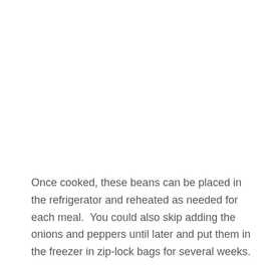Once cooked, these beans can be placed in the refrigerator and reheated as needed for each meal.  You could also skip adding the onions and peppers until later and put them in the freezer in zip-lock bags for several weeks.